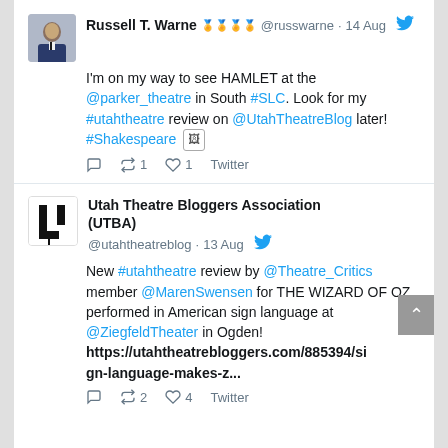[Figure (screenshot): Screenshot of two tweets. First tweet by Russell T. Warne (@russwarne) dated 14 Aug: 'I'm on my way to see HAMLET at the @parker_theatre in South #SLC. Look for my #utahtheatre review on @UtahTheatreBlog later! #Shakespeare [media icon]' with 1 retweet and 1 like. Second tweet by Utah Theatre Bloggers Association (UTBA) (@utahtheatreblog) dated 13 Aug: 'New #utahtheatre review by @Theatre_Critics member @MarenSwensen for THE WIZARD OF OZ performed in American sign language at @ZiegfeldTheater in Ogden! https://utahtheatrebloggers.com/885394/sign-language-makes-z...' with 2 retweets and 4 likes.]